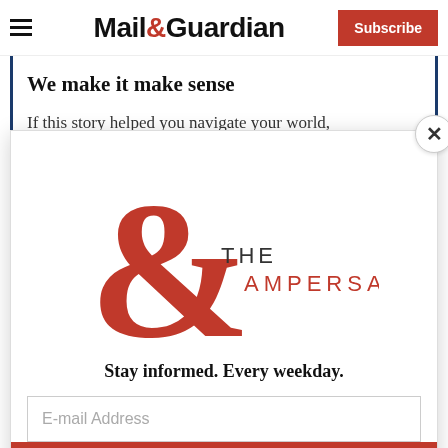Mail&Guardian — Subscribe
We make it make sense
If this story helped you navigate your world,
[Figure (logo): The Ampersand newsletter logo — large red ampersand symbol with 'THE AMPERSAND' text beside and below it]
Stay informed. Every weekday.
E-mail Address
Signup now